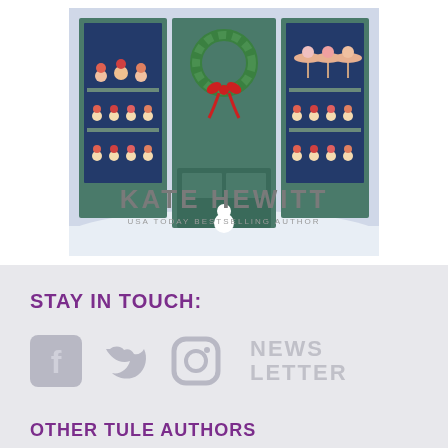[Figure (illustration): Book cover illustration showing a bakery/sweet shop storefront with green doors and windows, decorated for Christmas with a wreath, various cupcakes and treats displayed on shelves. At the bottom of the cover: 'KATE HEWITT' in large gray letters, and 'USA TODAY BESTSELLING AUTHOR' in smaller gray letters beneath.]
STAY IN TOUCH:
[Figure (infographic): Social media icons: Facebook (f logo), Twitter (bird logo), Instagram (camera logo), all in light gray, followed by 'NEWS LETTER' text in large light gray capital letters.]
OTHER TULE AUTHORS